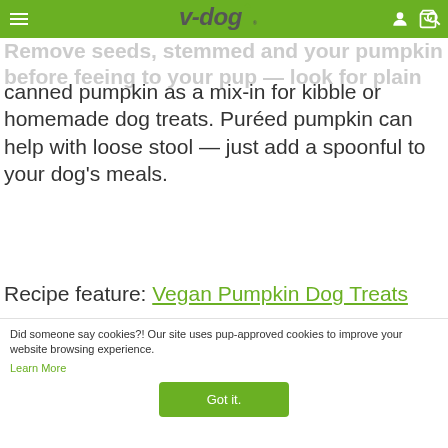v-dog navigation bar
Remove seeds, stemmed and your pumpkin before feeing to your pup — look for plain canned pumpkin as a mix-in for kibble or homemade dog treats. Puréed pumpkin can help with loose stool — just add a spoonful to your dog's meals.
Recipe feature: Vegan Pumpkin Dog Treats
[Figure (photo): Partially visible image, appears to be a dog treat or pumpkin related photo]
Did someone say cookies?! Our site uses pup-approved cookies to improve your website browsing experience. Learn More
[Figure (photo): Bottom strip showing a dog photo with orange/brown tones]